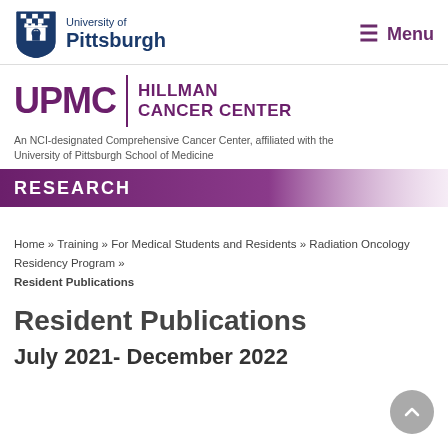University of Pittsburgh | Menu
[Figure (logo): University of Pittsburgh shield logo with UPMC Hillman Cancer Center wordmark]
An NCI-designated Comprehensive Cancer Center, affiliated with the University of Pittsburgh School of Medicine
RESEARCH
Home » Training » For Medical Students and Residents » Radiation Oncology Residency Program » Resident Publications
Resident Publications
July 2021- December 2022